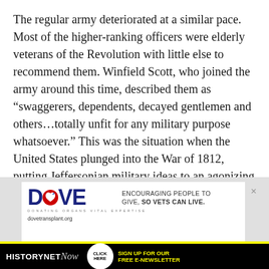The regular army deteriorated at a similar pace. Most of the higher-ranking officers were elderly veterans of the Revolution with little else to recommend them. Winfield Scott, who joined the army around this time, described them as “swaggerers, dependents, decayed gentlemen and others…totally unfit for any military purpose whatsoever.” This was the situation when the United States plunged into the War of 1812, putting Jeffersonian military ideas to an agonizing test.
[Figure (advertisement): DOVE transplant charity advertisement with logo showing DOVE with heart, tagline 'ENCOURAGING PEOPLE TO GIVE, SO VETS CAN LIVE.' and website dovetransplant.org, above a HistoryNet Now newsletter signup banner]